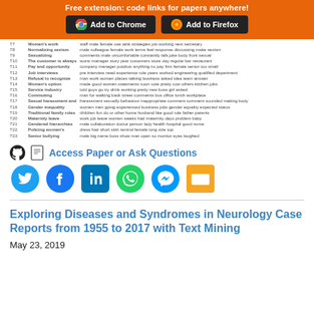[Figure (screenshot): Orange banner with 'Free extension: code links for papers anywhere!' and two buttons: 'Add to Chrome' and 'Add to Firefox']
| # | Topic | Keywords |
| --- | --- | --- |
| T7 | Women's work | staff male female use tank strategies job working next secretary |
| T8 | Normalizing sexism | male colleague female work terms feel response discussing make sexism |
| T9 | Sexualizing | comments male uncomfortable constantly talk joke body front sexual |
| T10 | The customer is always | worst manager story year customers store day regular bar restaurant |
| T11 | Pay and opportunity | company manager position anything no pay firm female senior too small |
| T12 | Job interviews | pre interview need experience role years worked engineering qualified department |
| T13 | Refusal to recognize | man work women places talking business asked idea team answer |
| T14 | Women's option | made good women statements soon vote pretty cow others kitchen jobs |
| T15 | Service industry | told guys go try drink working pretty new boss girl asked |
| T16 | Commuting | man for walking back street comments bus office lunch workplace |
| T17 | Sexual harassment and | harassment sexually behaviour inappropriate comment comment sounded making body |
| T18 | Gender inequality | women men going experienced business jobs gender equality expected status |
| T19 | Traditional family roles | children fun do or other home husband like good role father parents |
| T20 | Maternity leave | work job leave women weeks had maternity days problem baby |
| T21 | Gendered hierarchies | male collaboration doctor person lady health hospital good nurse |
| T22 | Policing women's | dress hair short skirt remind female long size top |
| T23 | Senior bullying | male big name boss show man open so monitor eyes laughed |
[Figure (screenshot): Access Paper or Ask Questions section with GitHub and document icons, followed by social media share icons: Twitter, Facebook, LinkedIn, WhatsApp, Messenger, Email]
Exploring Diseases and Syndromes in Neurology Case Reports from 1955 to 2017 with Text Mining
May 23, 2019